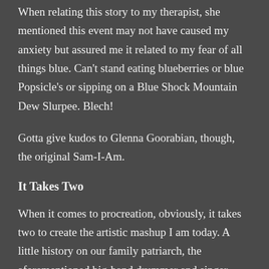When relating this story to my therapist, she mentioned this event may not have caused my anxiety but assured me it related to my fear of all things blue. Can't stand eating blueberries or blue Popsicle's or sipping on a Blue Shock Mountain Dew Slurpee. Blech!
Gotta give kudos to Glenna Goorabian, though, the original Sam-I-Am.
It Takes Two
When it comes to procreation, obviously, it takes two to create the artistic mashup I am today. A little history on our family patriarch, the aforementioned big-band drummer and singer, became a regular Joe after abandoning his musical pursuits when the four of us